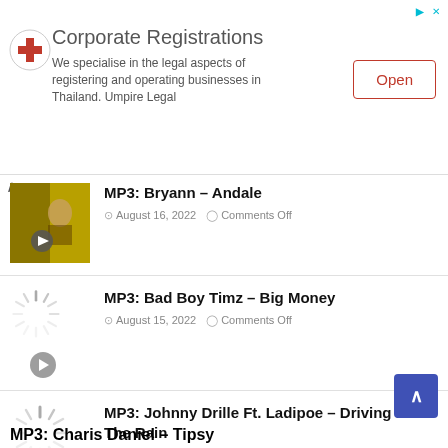[Figure (other): Advertisement banner for Corporate Registrations - Umpire Legal. Shows a red cross logo, headline 'Corporate Registrations', body text 'We specialise in the legal aspects of registering and operating businesses in Thailand. Umpire Legal', and an 'Open' button.]
MP3: Bryann – Andale
August 16, 2022   Comments Off
MP3: Bad Boy Timz – Big Money
August 15, 2022   Comments Off
MP3: Johnny Drille Ft. Ladipoe – Driving In The Rain
August 10, 2022   Comments Off
MP3: Charis Daniel – Tipsy